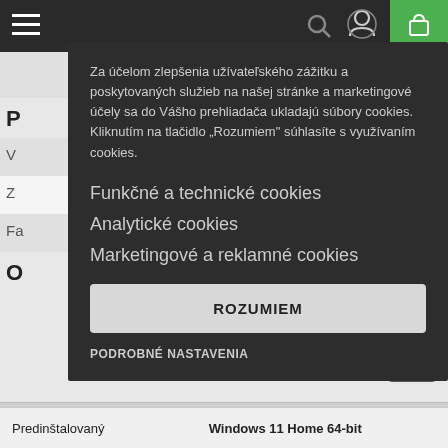[Figure (screenshot): Mobile website screenshot with cookie consent overlay on dark background. Top navigation bar with hamburger menu, user icon, and green cart icon. Behind overlay: grey website with partial text 'P', 'VO', rows with partial letters 'V', 'Z', 'Fa', section 'O', and footer with 'Predinštalovaný' and 'Windows 11 Home 64-bit'.]
Za účelom zlepšenia užívateľského zážitku a poskytovaných služieb na našej stránke a marketingové účely sa do Vášho prehliadača ukladajú súbory cookies. Kliknutím na tlačidlo „Rozumiem" súhlasíte s využívaním cookies.
Funkčné a technické cookies
Analytické cookies
Marketingové a reklamné cookies
ROZUMIEM
PODROBNÉ NASTAVENIA
Predinštalovaný   Windows 11 Home 64-bit